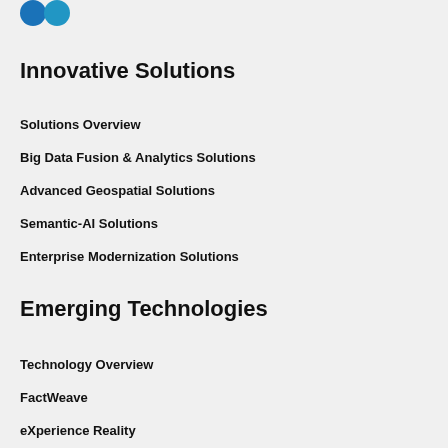[Figure (logo): Two circular blue logo icons partially visible at top left]
Innovative Solutions
Solutions Overview
Big Data Fusion & Analytics Solutions
Advanced Geospatial Solutions
Semantic-AI Solutions
Enterprise Modernization Solutions
Emerging Technologies
Technology Overview
FactWeave
eXperience Reality